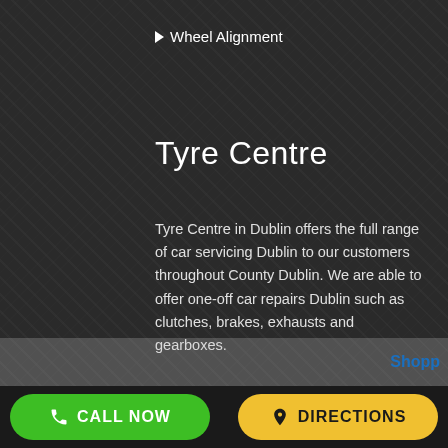> Wheel Alignment
Tyre Centre
Tyre Centre in Dublin offers the full range of car servicing Dublin to our customers throughout County Dublin. We are able to offer one-off car repairs Dublin such as clutches, brakes, exhausts and gearboxes.
Address: Taylors Lane Ballyboden Dublin 16
Call: 0871666117
Email: info@tyrecentre.ie
[Figure (screenshot): Map/directory thumbnail strip at bottom of content area with Shopp logo visible]
CALL NOW
DIRECTIONS